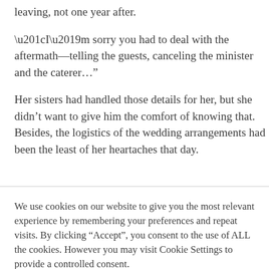leaving, not one year after.
“I’m sorry you had to deal with the aftermath—telling the guests, canceling the minister and the caterer…”
Her sisters had handled those details for her, but she didn’t want to give him the comfort of knowing that. Besides, the logistics of the wedding arrangements had been the least of her heartaches that day.
We use cookies on our website to give you the most relevant experience by remembering your preferences and repeat visits. By clicking “Accept”, you consent to the use of ALL the cookies. However you may visit Cookie Settings to provide a controlled consent.